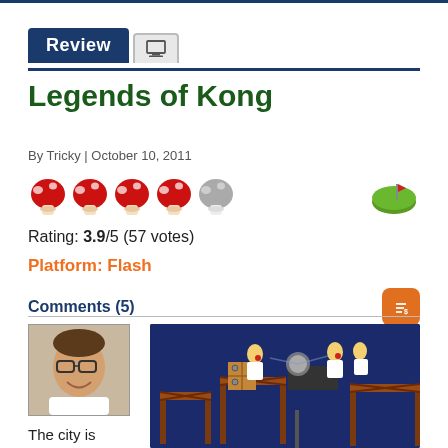Review
Legends of Kong
By Tricky | October 10, 2011
[Figure (illustration): 4 red mushroom rating icons and 1 grey mushroom icon representing 3.9/5 rating]
[Figure (illustration): Small game icon showing a green landscape with flag]
Rating: 3.9/5 (57 votes)
Platform: Flash
Comments (5)
[Figure (photo): Author photo - man with glasses smiling]
[Figure (screenshot): Game screenshot showing cartoon characters on a platform structure against dark blue background]
The city is under attack! Regular citizens have